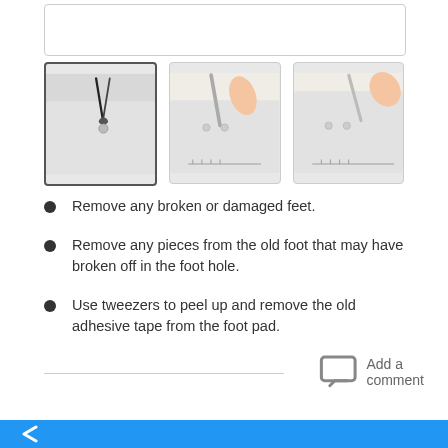[Figure (photo): Three thumbnail images showing repair steps: tweezers removing a laptop foot, a finger and tool at a laptop corner, and another view of the laptop corner with a tool.]
Remove any broken or damaged feet.
Remove any pieces from the old foot that may have broken off in the foot hole.
Use tweezers to peel up and remove the old adhesive tape from the foot pad.
Add a comment